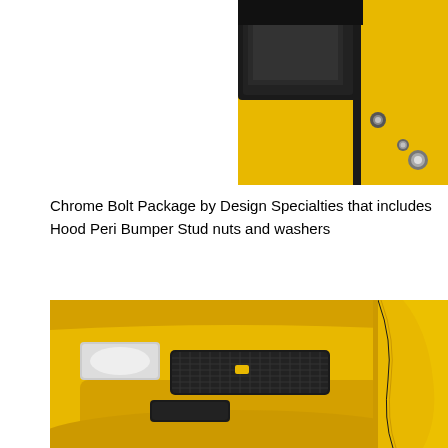[Figure (photo): Close-up of a yellow car engine bay area with black components and chrome bolts visible, partial view cropped at top-right of page]
Chrome Bolt Package by Design Specialties that includes Hood Peri Bumper Stud nuts and washers
[Figure (photo): Front bumper of a yellow sports car (Dodge Viper) showing carbon fiber mesh grille inserts and fog light opening, photographed in a parking lot]
[Figure (photo): Side panel detail of a yellow sports car showing smooth body panel curves, partial view on right side of page]